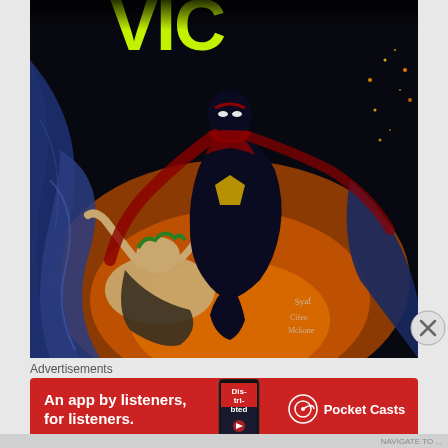[Figure (illustration): Comic book cover art showing a dark superhero in a black and red costume kicking an opponent, with dramatic lighting, a large cape in the foreground, and stylized title letters at the top. Artist signatures visible in lower right area.]
Advertisements
[Figure (infographic): Red advertisement banner for Pocket Casts app. Text reads 'An app by listeners, for listeners.' with a phone graphic showing 'Distributed' text and the Pocket Casts logo and name on the right.]